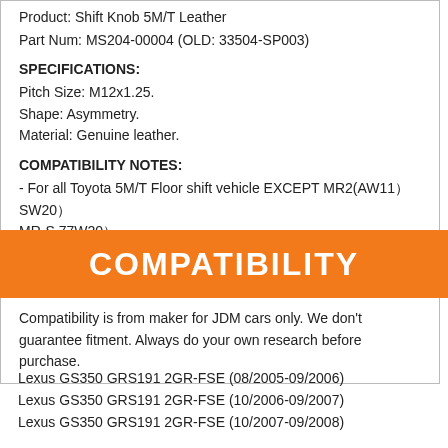Product: Shift Knob 5M/T Leather
Part Num: MS204-00004 (OLD: 33504-SP003)
SPECIFICATIONS:
Pitch Size: M12x1.25.
Shape: Asymmetry.
Material: Genuine leather.
COMPATIBILITY NOTES:
- For all Toyota 5M/T Floor shift vehicle EXCEPT MR2(AW11）SW20）
MR-S 77W20）
COMPATIBILITY
Compatibility is from maker for JDM cars only. We don't guarantee fitment. Always do your own research before purchase.
Lexus GS350 GRS191 2GR-FSE (08/2005-09/2006)
Lexus GS350 GRS191 2GR-FSE (10/2006-09/2007)
Lexus GS350 GRS191 2GR-FSE (10/2007-09/2008)
Lexus GS350 GRS191 2GR-FSE (10/2008-09/2009)
Lexus GS350 GRS191 2GR-FSE (10/2009~)
Lexus GS350 GRS196 2GR-FSE (08/2005-09/2006)
Lexus GS350 GRS196 2GR-FSE (10/2006-09/2007)
Lexus GS350 GRS196 2GR-FSE (10/2007-09/2008)
Lexus GS350 GRS196 2GR-FSE (10/2008-09/2009)